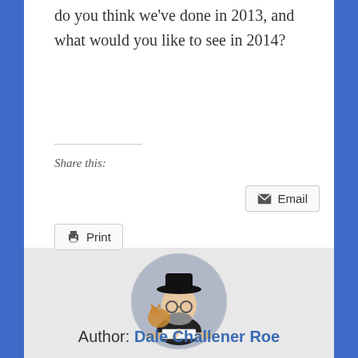do you think we've done in 2013, and what would you like to see in 2014?
Share this:
Email
Print
[Figure (illustration): Circular avatar illustration of a man wearing a black hat, sitting with a cat, drawing or writing at a desk]
Author: Dale Challener Roe